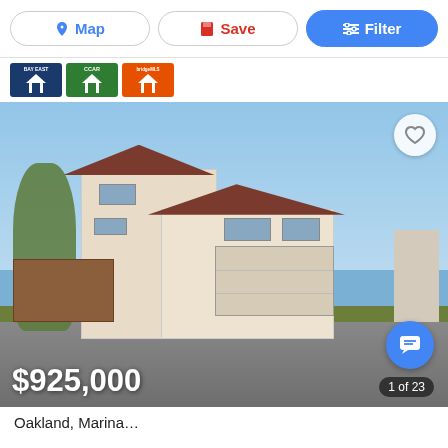[Figure (screenshot): Navigation toolbar with Map, Save, and Filter buttons]
[Figure (logo): Three real estate MLS logos: BAY EAST, CCAR, and bridgeMLS displayed as house icons]
[Figure (photo): Exterior photo of a two-story stucco home with a brown tile roof, two-car garage, and trees. Blue sky background.]
$925,000
1 of 23
Oakland, Marina...